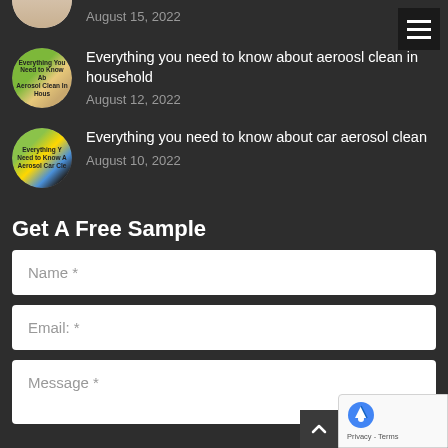[Figure (photo): Partial circular thumbnail of an article image at top, cropped]
August 15, 2022
[Figure (photo): Circular thumbnail with green/yellow background showing text: Everything You Need to Know About Aerosol Clean in Hous...]
Everything you need to know about aeroosl clean in household
August 12, 2022
[Figure (photo): Circular thumbnail with green/yellow/blue background showing text: Everything You Need to Know About Aerosol Car Cle...]
Everything you need to know about car aerosol clean
August 10, 2022
Get A Free Sample
Name *
Email: *
Message *